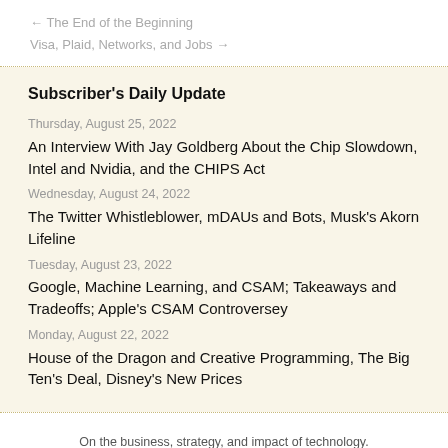← The End of the Beginning
Visa, Plaid, Networks, and Jobs →
Subscriber's Daily Update
Thursday, August 25, 2022
An Interview With Jay Goldberg About the Chip Slowdown, Intel and Nvidia, and the CHIPS Act
Wednesday, August 24, 2022
The Twitter Whistleblower, mDAUs and Bots, Musk's Akorn Lifeline
Tuesday, August 23, 2022
Google, Machine Learning, and CSAM; Takeaways and Tradeoffs; Apple's CSAM Controversey
Monday, August 22, 2022
House of the Dragon and Creative Programming, The Big Ten's Deal, Disney's New Prices
On the business, strategy, and impact of technology. © Stratechery LLC 2022 | Terms of Service | Privacy Policy